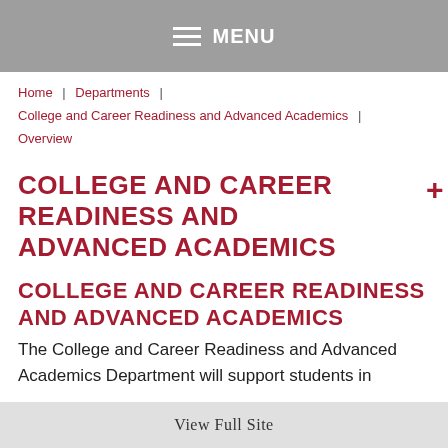MENU
Home | Departments | College and Career Readiness and Advanced Academics | Overview
COLLEGE AND CAREER READINESS AND ADVANCED ACADEMICS
COLLEGE AND CAREER READINESS AND ADVANCED ACADEMICS
The College and Career Readiness and Advanced Academics Department will support students in
View Full Site